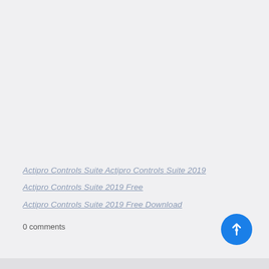Actipro Controls Suite Actipro Controls Suite 2019
Actipro Controls Suite 2019 Free
Actipro Controls Suite 2019 Free Download
0 comments